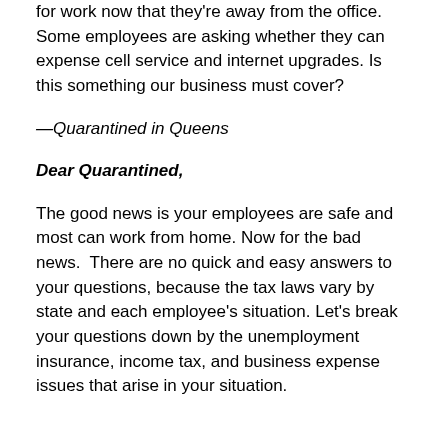for work now that they're away from the office. Some employees are asking whether they can expense cell service and internet upgrades. Is this something our business must cover?
—Quarantined in Queens
Dear Quarantined,
The good news is your employees are safe and most can work from home. Now for the bad news.  There are no quick and easy answers to your questions, because the tax laws vary by state and each employee's situation. Let's break your questions down by the unemployment insurance, income tax, and business expense issues that arise in your situation.